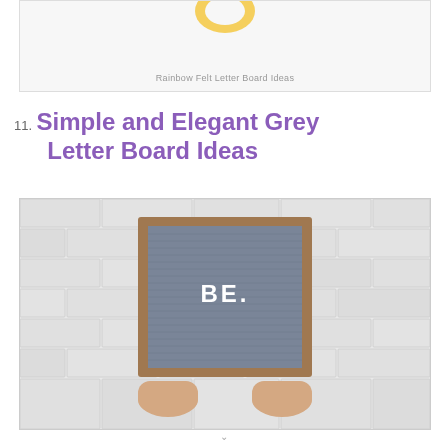[Figure (photo): Top portion of a rainbow felt letter board image with a yellow element visible at the top center, against a light background]
Rainbow Felt Letter Board Ideas
11. Simple and Elegant Grey Letter Board Ideas
[Figure (photo): Hands holding a grey felt letter board with wooden frame displaying the word 'BE.' in white letters, against a white brick wall background]